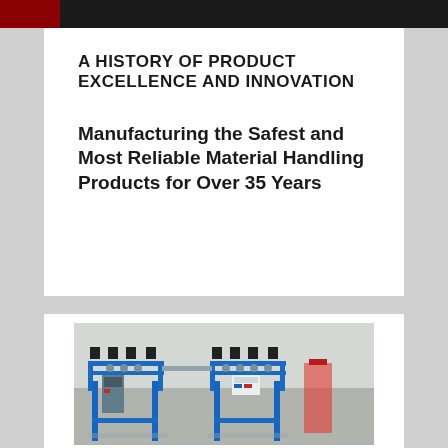A HISTORY OF PRODUCT EXCELLENCE AND INNOVATION
Manufacturing the Safest and Most Reliable Material Handling Products for Over 35 Years
[Figure (photo): Industrial material handling machine — a blue steel conveyor/assembly machine in a warehouse or manufacturing facility, photographed from the front showing dual sections with control panels and rollers.]